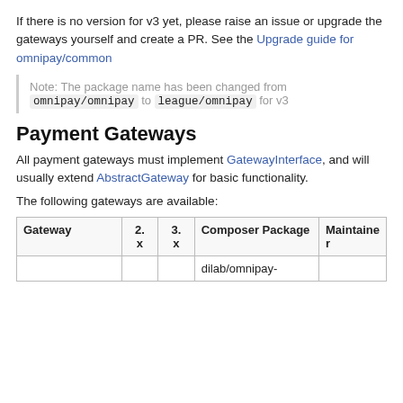If there is no version for v3 yet, please raise an issue or upgrade the gateways yourself and create a PR. See the Upgrade guide for omnipay/common
Note: The package name has been changed from omnipay/omnipay to league/omnipay for v3
Payment Gateways
All payment gateways must implement GatewayInterface, and will usually extend AbstractGateway for basic functionality.
The following gateways are available:
| Gateway | 2.x | 3.x | Composer Package | Maintainer |
| --- | --- | --- | --- | --- |
|  |  |  | dilab/omnipay- |  |